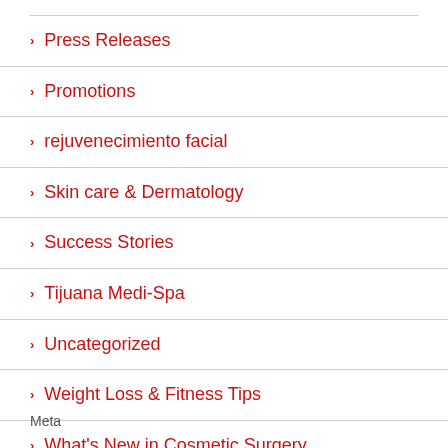Press Releases
Promotions
rejuvenecimiento facial
Skin care & Dermatology
Success Stories
Tijuana Medi-Spa
Uncategorized
Weight Loss & Fitness Tips
What's New in Cosmetic Surgery
Meta